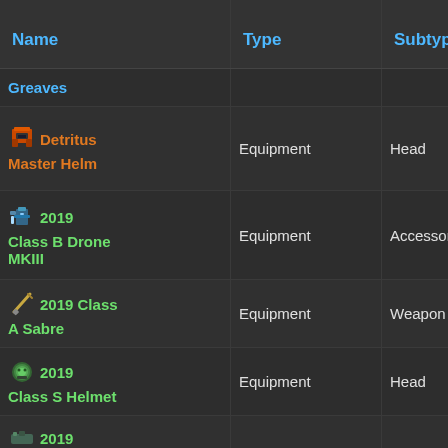| Name | Type | Subtype | Buff |
| --- | --- | --- | --- |
| Greaves |  |  |  |
| Detritus Master Helm | Equipment | Head | +Ran... / [bar] |
| 2019 Class B Drone MKIII | Equipment | Accessory | + / [green bar] |
| 2019 Class A Sabre | Equipment | Weapon | + / [green bar] |
| 2019 Class S Helmet | Equipment | Head | + / [green bar] |
| 2019... |  |  |  |